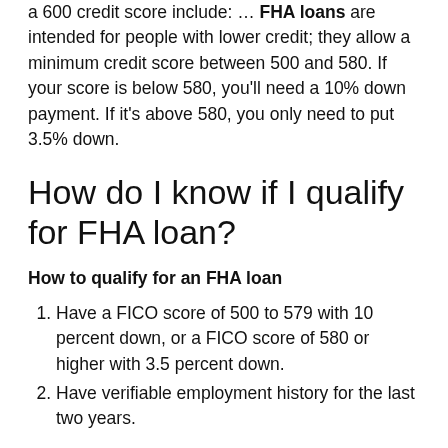a 600 credit score include: ... FHA loans are intended for people with lower credit; they allow a minimum credit score between 500 and 580. If your score is below 580, you'll need a 10% down payment. If it's above 580, you only need to put 3.5% down.
How do I know if I qualify for FHA loan?
How to qualify for an FHA loan
Have a FICO score of 500 to 579 with 10 percent down, or a FICO score of 580 or higher with 3.5 percent down.
Have verifiable employment history for the last two years.